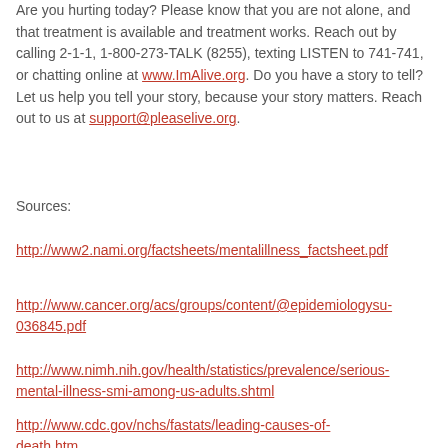Are you hurting today? Please know that you are not alone, and that treatment is available and treatment works. Reach out by calling 2-1-1, 1-800-273-TALK (8255), texting LISTEN to 741-741, or chatting online at www.ImAlive.org. Do you have a story to tell? Let us help you tell your story, because your story matters. Reach out to us at support@pleaselive.org.
Sources:
http://www2.nami.org/factsheets/mentalillness_factsheet.pdf
http://www.cancer.org/acs/groups/content/@epidemiologysu-036845.pdf
http://www.nimh.nih.gov/health/statistics/prevalence/serious-mental-illness-smi-among-us-adults.shtml
http://www.cdc.gov/nchs/fastats/leading-causes-of-death.htm